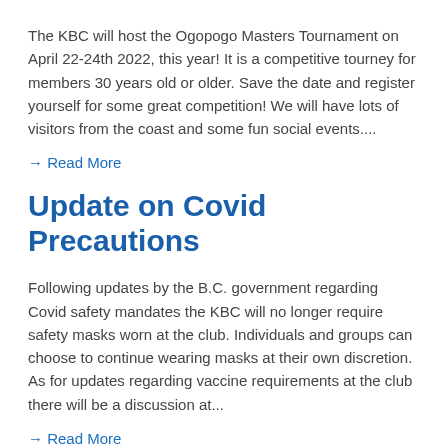The KBC will host the Ogopogo Masters Tournament on April 22-24th 2022, this year! It is a competitive tourney for members 30 years old or older. Save the date and register yourself for some great competition! We will have lots of visitors from the coast and some fun social events....
→ Read More
Update on Covid Precautions
Following updates by the B.C. government regarding Covid safety mandates the KBC will no longer require safety masks worn at the club. Individuals and groups can choose to continue wearing masks at their own discretion. As for updates regarding vaccine requirements at the club there will be a discussion at...
→ Read More
New Season of Ladder, register now!